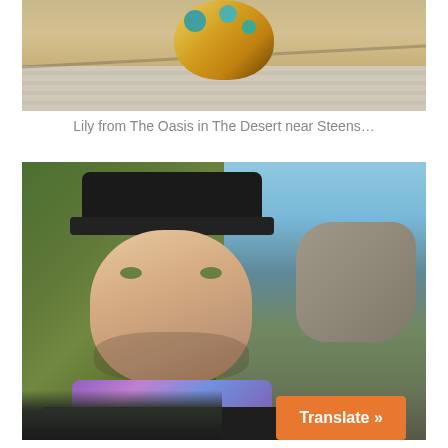[Figure (photo): Colorful decorative pottery/mug with yellow, teal, and brown designs sitting on a wooden surface with shadows]
Lily from The Oasis in The Desert near Steens…
[Figure (photo): Man wearing a black cap and purple/galaxy neck gaiter against a background of green foliage, blue sky, and rock wall, holding something small at bottom]
[Figure (other): Translate button overlay in orange]